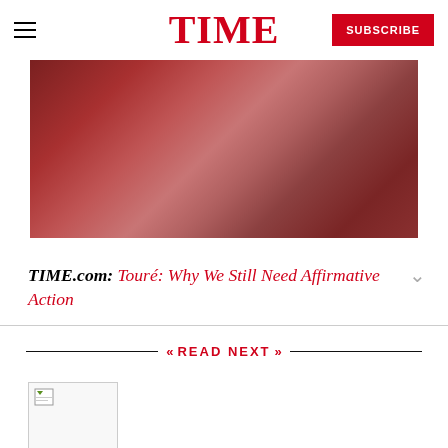TIME
[Figure (photo): Abstract blurred reddish-maroon background photo]
TIME.com: Touré: Why We Still Need Affirmative Action
READ NEXT
[Figure (photo): Thumbnail image placeholder (broken image icon)]